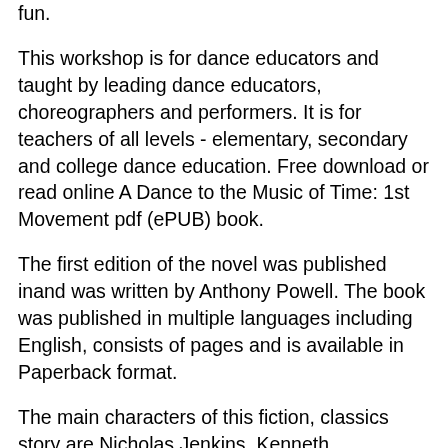fun.
This workshop is for dance educators and taught by leading dance educators, choreographers and performers. It is for teachers of all levels - elementary, secondary and college dance education. Free download or read online A Dance to the Music of Time: 1st Movement pdf (ePUB) book.
The first edition of the novel was published inand was written by Anthony Powell. The book was published in multiple languages including English, consists of pages and is available in Paperback format.
The main characters of this fiction, classics story are Nicholas Jenkins, Kenneth Widmerpool. Dance is everywhere in our lives, and it speaks volumes if you take a listen.
The bonus point: my 4 year old used to equate dance with tutu and beautiful dress, she has certainly changed her mind since this film. For that, I'm deeply grateful to the film maker for producing such a entertaining, educational material. For family